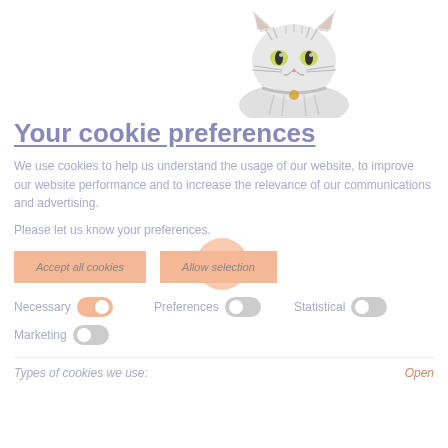[Figure (illustration): Illustration of a tabby cat with green eyes and a gold bell collar, pencil/grayscale drawing, upper body visible, centered-right on the page]
Your cookie preferences
We use cookies to help us understand the usage of our website, to improve our website performance and to increase the relevance of our communications and advertising.
Please let us know your preferences.
Accept all cookies
Allow selection
Necessary   [toggle on]   Preferences   [toggle off]   Statistical   [toggle off]
Marketing   [toggle off]
Types of cookies we use:
Open